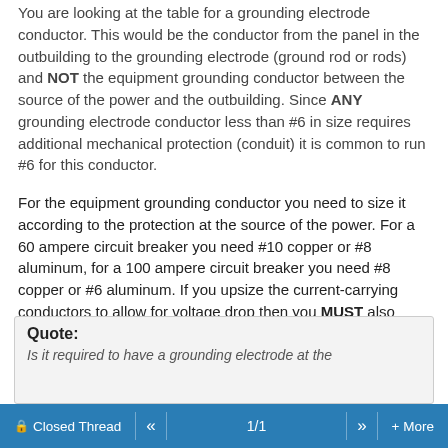You are looking at the table for a grounding electrode conductor. This would be the conductor from the panel in the outbuilding to the grounding electrode (ground rod or rods) and NOT the equipment grounding conductor between the source of the power and the outbuilding. Since ANY grounding electrode conductor less than #6 in size requires additional mechanical protection (conduit) it is common to run #6 for this conductor.
For the equipment grounding conductor you need to size it according to the protection at the source of the power. For a 60 ampere circuit breaker you need #10 copper or #8 aluminum, for a 100 ampere circuit breaker you need #8 copper or #6 aluminum. If you upsize the current-carrying conductors to allow for voltage drop then you MUST also upsize the equipment grounding conductor proportionally.
Quote: Is it required to have a grounding electrode at the
Closed Thread  «  1/1  »  + More